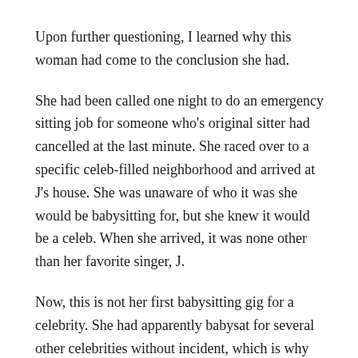Upon further questioning, I learned why this woman had come to the conclusion she had.
She had been called one night to do an emergency sitting job for someone who's original sitter had cancelled at the last minute. She raced over to a specific celeb-filled neighborhood and arrived at J's house. She was unaware of who it was she would be babysitting for, but she knew it would be a celeb. When she arrived, it was none other than her favorite singer, J.
Now, this is not her first babysitting gig for a celebrity. She had apparently babysat for several other celebrities without incident, which is why she was chosen for this job. Therefore, she should have known better.
She asked J for a hug. Apparently J gave her an awkward side hug, left a note with the important numbers, and booked it out of there very